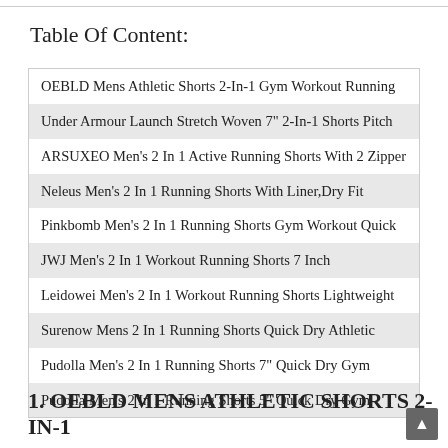Table Of Content:
OEBLD Mens Athletic Shorts 2-In-1 Gym Workout Running
Under Armour Launch Stretch Woven 7" 2-In-1 Shorts Pitch
ARSUXEO Men's 2 In 1 Active Running Shorts With 2 Zipper
Neleus Men's 2 In 1 Running Shorts With Liner,Dry Fit
Pinkbomb Men's 2 In 1 Running Shorts Gym Workout Quick
JWJ Men's 2 In 1 Workout Running Shorts 7 Inch
Leidowei Men's 2 In 1 Workout Running Shorts Lightweight
Surenow Mens 2 In 1 Running Shorts Quick Dry Athletic
Pudolla Men's 2 In 1 Running Shorts 7" Quick Dry Gym
Pudolla Men's 2 In 1 Running Shorts 5" Quick Dry Gym
1. OEBLD MENS ATHLETIC SHORTS 2-IN-1